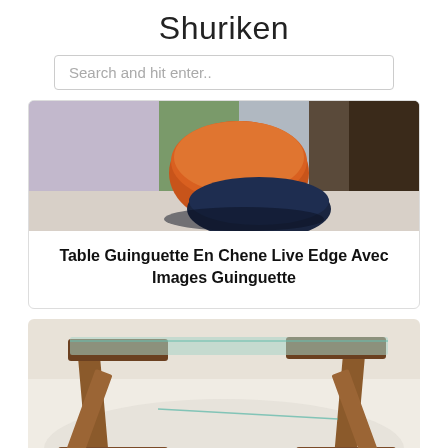Shuriken
Search and hit enter..
[Figure (photo): Photo of orange and navy blue upholstered stools/poufs in an interior setting with a green wall accent]
Table Guinguette En Chene Live Edge Avec Images Guinguette
[Figure (photo): Photo of a walnut wood and glass coffee table with geometric Z-shaped legs viewed from above at an angle]